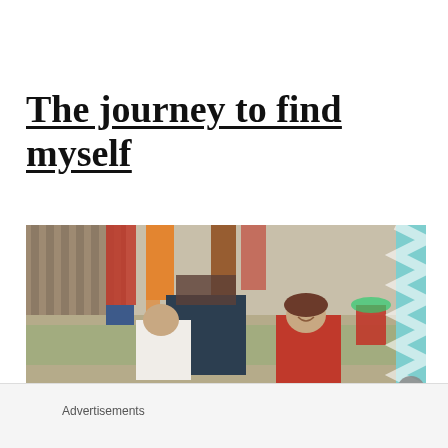The journey to find myself
[Figure (photo): Outdoor photo showing children's legs from above and two children sitting/crouching in the lower portion, with a garden, wooden fence, and teal chevron pattern visible on the right edge]
Advertisements